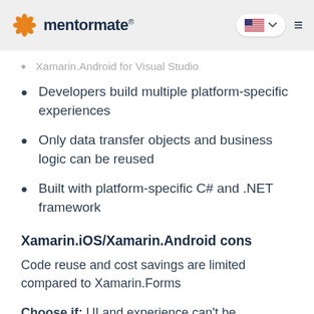mentormate
Xamarin.Android for Visual Studio
Developers build multiple platform-specific experiences
Only data transfer objects and business logic can be reused
Built with platform-specific C# and .NET framework
Xamarin.iOS/Xamarin.Android cons
Code reuse and cost savings are limited compared to Xamarin.Forms
Choose if: UI and experience can't be compromised, and there are many specialized experiences